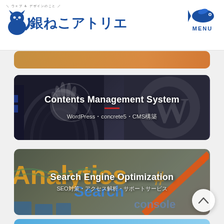銀ねこアトリエ
[Figure (screenshot): Partial card at top, partially cropped]
[Figure (screenshot): Contents Management System card with dark architectural background showing WordPress/concrete5 CMS services]
[Figure (screenshot): Search Engine Optimization card with Analytics/Search Console themed background]
[Figure (screenshot): Partially visible bottom card, light blue sky background]